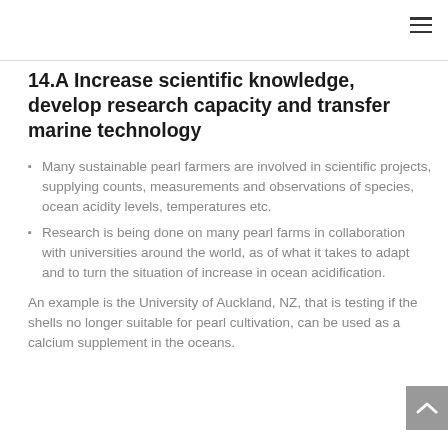14.A Increase scientific knowledge, develop research capacity and transfer marine technology
Many sustainable pearl farmers are involved in scientific projects, supplying counts, measurements and observations of species, ocean acidity levels, temperatures etc.
Research is being done on many pearl farms in collaboration with universities around the world, as of what it takes to adapt and to turn the situation of increase in ocean acidification.
An example is the University of Auckland, NZ, that is testing if the shells no longer suitable for pearl cultivation, can be used as a calcium supplement in the oceans.